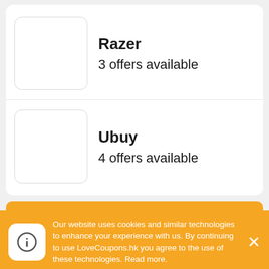Razer
3 offers available
Ubuy
4 offers available
Featured Stores
Book Depository
16 offers available
Our website uses cookies and similar technologies to enhance your experience with us. By continuing to use LoveCoupons.hk you agree to the use of these technologies. Read more.